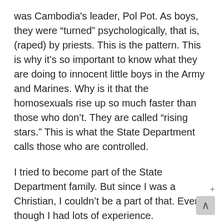was Cambodia's leader, Pol Pot. As boys, they were “turned” psychologically, that is, (raped) by priests. This is the pattern. This is why it’s so important to know what they are doing to innocent little boys in the Army and Marines. Why is it that the homosexuals rise up so much faster than those who don’t. They are called “rising stars.” This is what the State Department calls those who are controlled.
I tried to become part of the State Department family. But since I was a Christian, I couldn’t be a part of that. Even though I had lots of experience.
I lived with chief White House correspondent, Sarah McClendon, for a while and she told me Ron Brown, Vince Foster, and Forrestal were murdered.